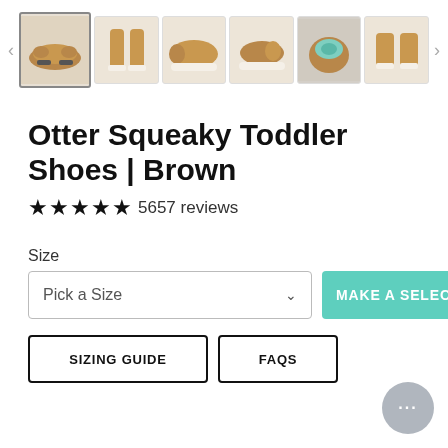[Figure (photo): Thumbnail image gallery of brown toddler squeaky shoes from multiple angles, with left and right navigation arrows. First thumbnail is selected/highlighted.]
Otter Squeaky Toddler Shoes | Brown
★★★★★ 5657 reviews
Size
Pick a Size
MAKE A SELECTION
SIZING GUIDE
FAQS